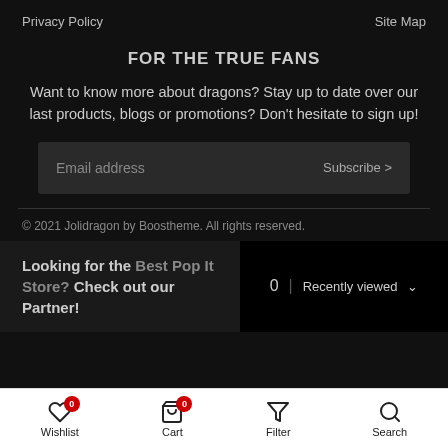Privacy Policy   Site Map
FOR THE TRUE FANS
Want to know more about dragons? Stay up to date over our last products, blogs or promotions? Don't hesitate to sign up!
Email address   Subscribe >
© 2021 Jolidragon by Boostheme. All rights reserved.
Looking for the Best Pop It Store? Check out our Partner!
0 | Recently viewed
Wishlist  Cart  Filter  Search